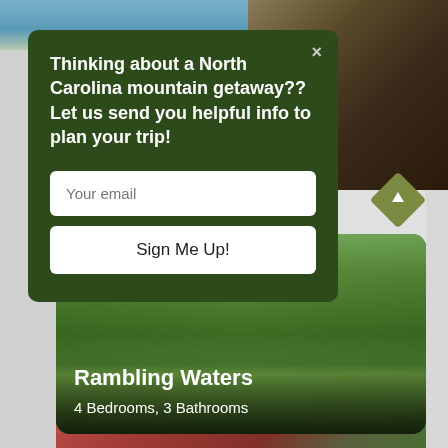[Figure (screenshot): Website popup modal overlay on a cabin rental website. Dark green modal prompting user to sign up for North Carolina mountain getaway info, with email input field and Sign Me Up button. Background shows mountain cabin photos.]
Thinking about a North Carolina mountain getaway?? Let us send you helpful info to plan your trip!
Your email
Sign Me Up!
[Figure (photo): Photo of a cabin in the woods surrounded by tall trees with green grass lawn]
Rambling Waters
4 Bedrooms, 3 Bathrooms
[Figure (photo): Partial view of another cabin with red metal roof and trees in background]